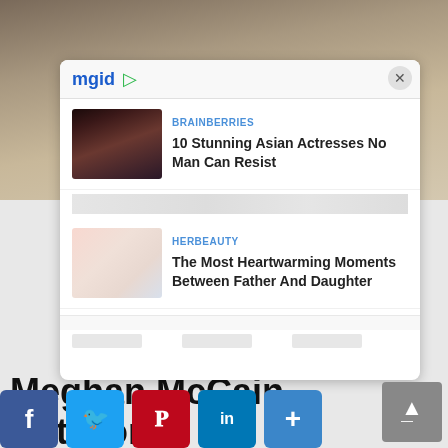[Figure (screenshot): Background photo of people at top of page]
[Figure (screenshot): mgid ad widget overlay with two sponsored content items: 'BRAINBERRIES - 10 Stunning Asian Actresses No Man Can Resist' and 'HERBEAUTY - The Most Heartwarming Moments Between Father And Daughter'. Close button (X) in top right of widget.]
Meghan McCain Net worth
[Figure (other): Social share buttons: Facebook, Twitter, Pinterest, LinkedIn, More (+)]
[Figure (other): Scroll to top button (arrow up) in grey]